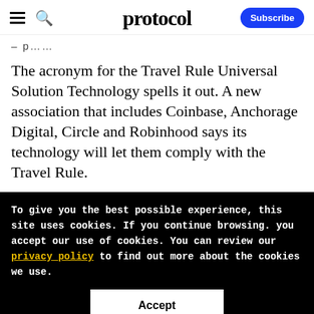protocol | Subscribe
– p……
The acronym for the Travel Rule Universal Solution Technology spells it out. A new association that includes Coinbase, Anchorage Digital, Circle and Robinhood says its technology will let them comply with the Travel Rule.
To give you the best possible experience, this site uses cookies. If you continue browsing. you accept our use of cookies. You can review our privacy policy to find out more about the cookies we use.
Accept